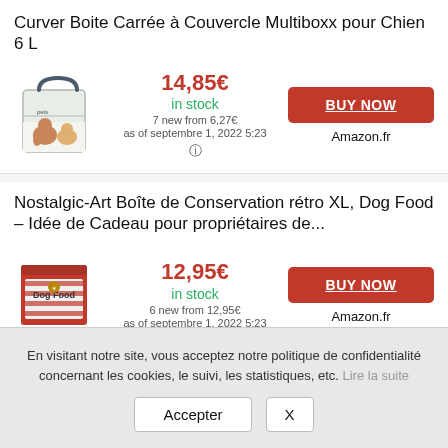Curver Boite Carrée à Couvercle Multiboxx pour Chien 6 L
[Figure (photo): White square pet food container with handle, decorated with dog and cat images, Curver Multiboxx brand]
14,85€
in stock
7 new from 6,27€
as of septembre 1, 2022 5:23
(i)
BUY NOW
Amazon.fr
Nostalgic-Art Boîte de Conservation rétro XL, Dog Food – Idée de Cadeau pour propriétaires de...
[Figure (photo): Vintage-style red tin box with Dog Food label, retro design]
12,95€
in stock
6 new from 12,95€
as of septembre 1, 2022 5:23
BUY NOW
Amazon.fr
En visitant notre site, vous acceptez notre politique de confidentialité concernant les cookies, le suivi, les statistiques, etc. Lire la suite
Accepter   X